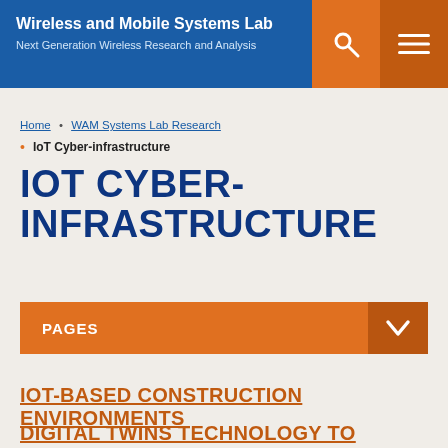Wireless and Mobile Systems Lab
Next Generation Wireless Research and Analysis
Home • WAM Systems Lab Research • IoT Cyber-infrastructure
IOT CYBER-INFRASTRUCTURE
PAGES
IOT-BASED CONSTRUCTION ENVIRONMENTS
DIGITAL TWINS TECHNOLOGY TO